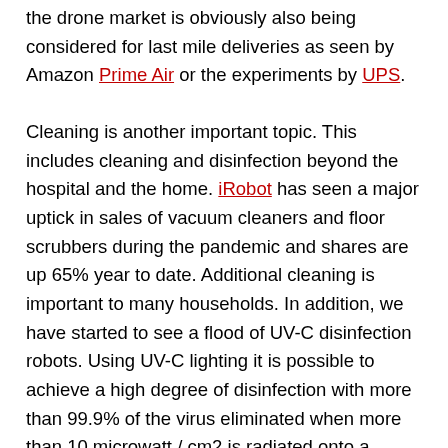the drone market is obviously also being considered for last mile deliveries as seen by Amazon Prime Air or the experiments by UPS.
Cleaning is another important topic. This includes cleaning and disinfection beyond the hospital and the home. iRobot has seen a major uptick in sales of vacuum cleaners and floor scrubbers during the pandemic and shares are up 65% year to date. Additional cleaning is important to many households. In addition, we have started to see a flood of UV-C disinfection robots. Using UV-C lighting it is possible to achieve a high degree of disinfection with more than 99.9% of the virus eliminated when more than 10 microwatt / cm2 is radiated onto a surface. In many cases, a high-power source is used to allow even indirect illumination to kill the virus. There are already more than 50 companies worldwide pursuing this market. UVD robots from Denmark was an early entry